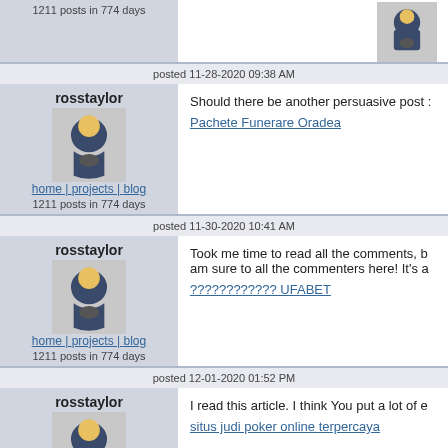1211 posts in 774 days
posted 11-28-2020 09:38 AM
rosstaylor
home | projects | blog
1211 posts in 774 days
Should there be another persuasive post ...
Pachete Funerare Oradea
posted 11-30-2020 10:41 AM
rosstaylor
home | projects | blog
1211 posts in 774 days
Took me time to read all the comments, b... am sure to all the commenters here! It's a...
???????????? UFABET
posted 12-01-2020 01:52 PM
rosstaylor
home | projects | blog
1211 posts in 774 days
I read this article. I think You put a lot of e...
situs judi poker online terpercaya
posted 12-02-2020 10:39 AM
rosstaylor
home | projects | blog
1211 posts in 774 days
Your post was very nicely written. I'll be ba...
??????
posted 12-04-2020 05:53 AM